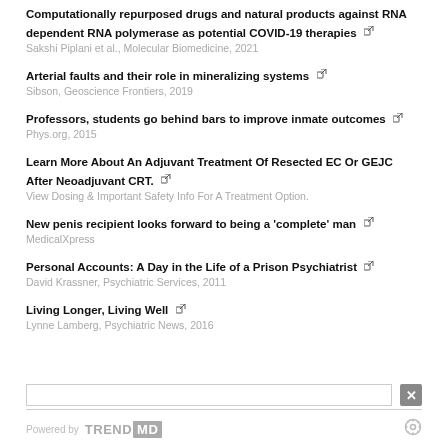Computationally repurposed drugs and natural products against RNA dependent RNA polymerase as potential COVID-19 therapies
Sakshi Piplani et al., Molecular Biomedicine, 2021
Arterial faults and their role in mineralizing systems
Sibson, Geoscience Frontiers, 2019
Professors, students go behind bars to improve inmate outcomes
Phys.org, 2015
Learn More About An Adjuvant Treatment Of Resected EC Or GEJC After Neoadjuvant CRT.
View Dosing & Important Safety Info For A Treatment Option.
New penis recipient looks forward to being a 'complete' man
MedicalXpress
Personal Accounts: A Day in the Life of a Prison Psychiatrist
David Krassner, Psychiatric Services, 2011
Living Longer, Living Well
Lynne Lamberg, Psychiatric News, 2016
Powered by TRENDMD